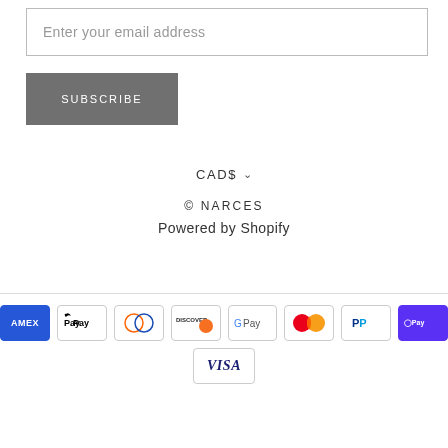Enter your email address
SUBSCRIBE
CAD$
© NARCES
Powered by Shopify
[Figure (other): Payment method icons: American Express, Apple Pay, Diners Club, Discover, Google Pay, Mastercard, PayPal, Shop Pay, Visa]